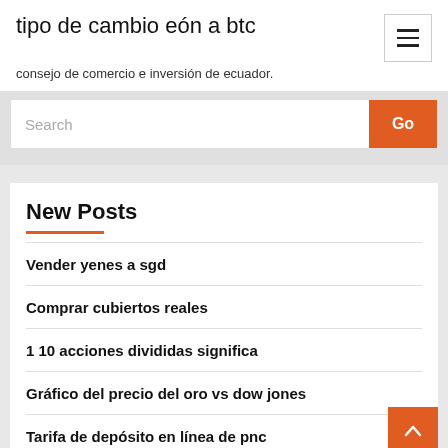tipo de cambio eón a btc
consejo de comercio e inversión de ecuador.
New Posts
Vender yenes a sgd
Comprar cubiertos reales
1 10 acciones divididas significa
Gráfico del precio del oro vs dow jones
Tarifa de depósito en línea de pnc